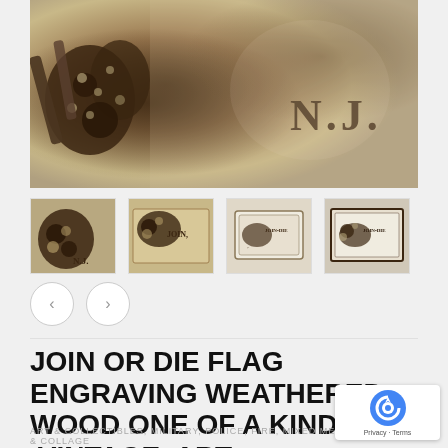[Figure (photo): Close-up photo of a weathered wood engraving showing a snake motif with 'N.J.' text visible, part of a Join or Die flag engraving on distressed wood with dark brown tones]
[Figure (photo): Thumbnail 1: Close-up of engraved snake motif on dark weathered wood]
[Figure (photo): Thumbnail 2: Engraving showing JOIN text on wood]
[Figure (photo): Thumbnail 3: Smaller view of the Join or Die plaque on lighter wood]
[Figure (photo): Thumbnail 4: Front-facing view of the Join or Die engraved plaque with dark border]
JOIN OR DIE FLAG ENGRAVING WEATHERED WOOD ONE OF A KIND ,VINTAGE, ART, DISTRESSED, WEATHERED, RECYCLED, SNAKE, WHITE
ART & COLLECTIBLES, MILITARY, POLICE, FIRE, MIXED MEDIA & COLLAGE